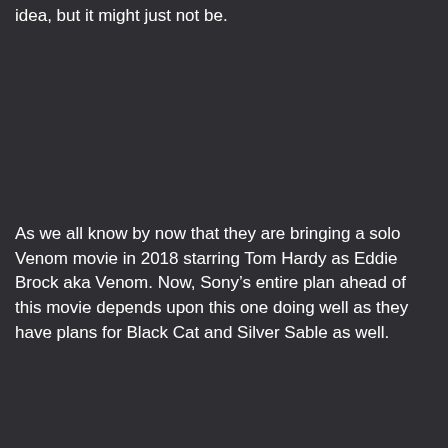idea, but it might just not be.
As we all know by now that they are bringing a solo Venom movie in 2018 starring Tom Hardy as Eddie Brock aka Venom. Now, Sony’s entire plan ahead of this movie depends upon this one doing well as they have plans for Black Cat and Silver Sable as well.